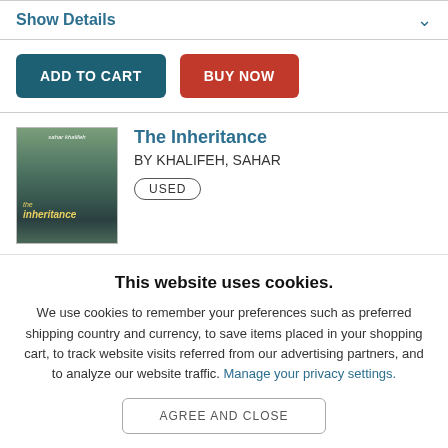Show Details
ADD TO CART
BUY NOW
[Figure (illustration): Book cover of 'The Inheritance' by Sahar Khalifeh showing a green forest/nature scene with the title in italic yellow text]
The Inheritance
BY KHALIFEH, SAHAR
USED
This website uses cookies.
We use cookies to remember your preferences such as preferred shipping country and currency, to save items placed in your shopping cart, to track website visits referred from our advertising partners, and to analyze our website traffic. Manage your privacy settings.
AGREE AND CLOSE